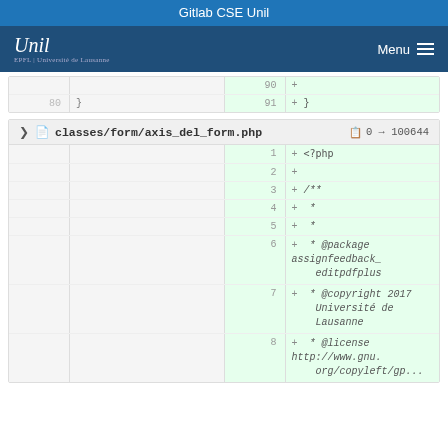Gitlab CSE Unil
[Figure (screenshot): UNIL University of Lausanne navigation bar with logo and Menu button]
| old line | old code | new line | new code |
| --- | --- | --- | --- |
|  |  | 90 | +  |
| 80 | } | 91 | } |
| old line | old code | new line | new code |
| --- | --- | --- | --- |
| 1 | + <?php |  |  |
| 2 | + |  |  |
| 3 | + /** |  |  |
| 4 | + * |  |  |
| 5 | + * |  |  |
| 6 | + * @package assignfeedback_editpdfplus |  |  |
| 7 | + * @copyright 2017 Université de Lausanne |  |  |
| 8 | + * @license http://www.gnu.org/copyleft/gp... |  |  |
classes/form/axis_del_form.php  0 → 100644